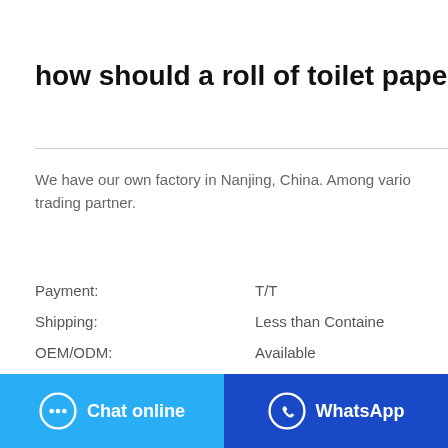how should a roll of toilet paper b
We have our own factory in Nanjing, China. Among vario trading partner.
| Label | Value |
| --- | --- |
| Payment: | T/T |
| Shipping: | Less than Containe |
| OEM/ODM: | Available |
| Price: | Contact online |